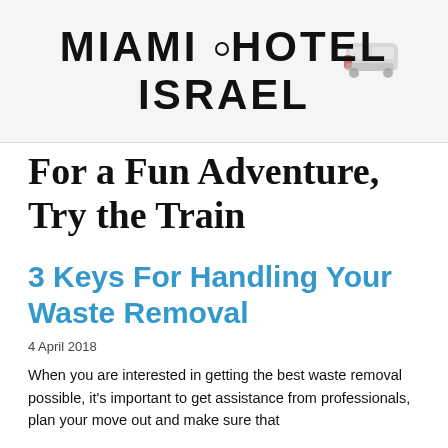MIAMI HOTEL ISRAEL
For a Fun Adventure, Try the Train
3 Keys For Handling Your Waste Removal
4 April 2018
When you are interested in getting the best waste removal possible, it's important to get assistance from professionals, plan your move out and make sure that